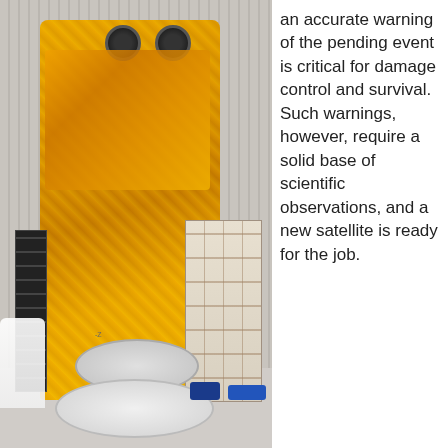[Figure (photo): Photograph of a satellite covered in gold thermal foil (multilayer insulation) with solar panels and radiators, mounted on a white cylindrical base in a clean room facility. A person in a white lab coat is partially visible on the left. Blue cylindrical objects are visible in the background.]
an accurate warning of the pending event is critical for damage control and survival. Such warnings, however, require a solid base of scientific observations, and a new satellite is ready for the job.